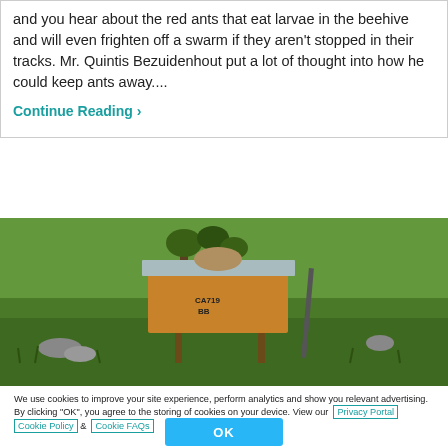and you hear about the red ants that eat larvae in the beehive and will even frighten off a swarm if they aren't stopped in their tracks. Mr. Quintis Bezuidenhout put a lot of thought into how he could keep ants away....
Continue Reading ›
[Figure (photo): A wooden beehive box with a metal roof and a stone on top, situated on legs in a grassy outdoor field.]
We use cookies to improve your site experience, perform analytics and show you relevant advertising. By clicking "OK", you agree to the storing of cookies on your device. View our Privacy Portal Cookie Policy & Cookie FAQs
OK